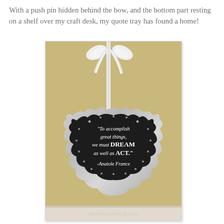With a push pin hidden behind the bow, and the bottom part resting on a shelf over my craft desk, my quote tray has found a home!
[Figure (photo): A decorative chalkboard quote tray with a scalloped silver/metallic frame, hung by a white ribbon bow. The chalkboard reads: 'To accomplish great things, we must DREAM as well as ACT.' -Anatole France. The tray rests on a shelf against a warm yellow wall. Watermark reads serenitynnowblog.com]